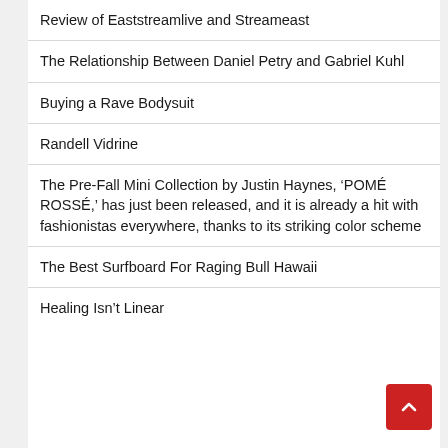Review of Eaststreamlive and Streameast
The Relationship Between Daniel Petry and Gabriel Kuhl
Buying a Rave Bodysuit
Randell Vidrine
The Pre-Fall Mini Collection by Justin Haynes, ‘POMÉ ROSSÉ,’ has just been released, and it is already a hit with fashionistas everywhere, thanks to its striking color scheme
The Best Surfboard For Raging Bull Hawaii
Healing Isn’t Linear